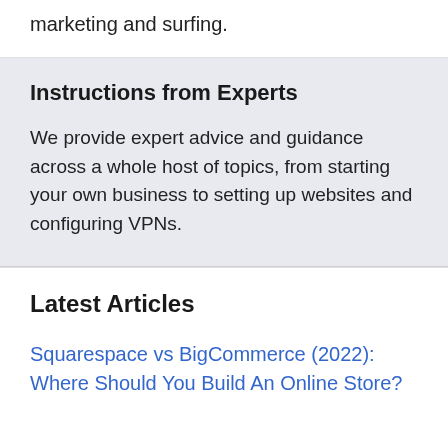marketing and surfing.
Instructions from Experts
We provide expert advice and guidance across a whole host of topics, from starting your own business to setting up websites and configuring VPNs.
Latest Articles
Squarespace vs BigCommerce (2022): Where Should You Build An Online Store?